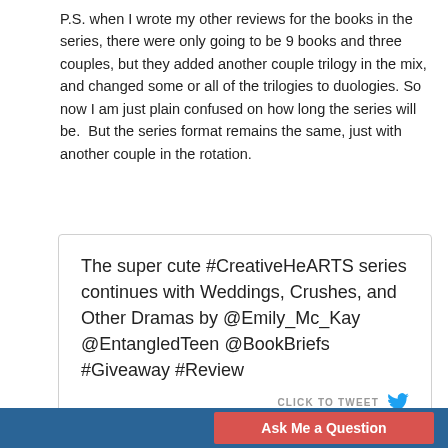P.S. when I wrote my other reviews for the books in the series, there were only going to be 9 books and three couples, but they added another couple trilogy in the mix, and changed some or all of the trilogies to duologies. So now I am just plain confused on how long the series will be.  But the series format remains the same, just with another couple in the rotation.
The super cute #CreativeHeARTS series continues with Weddings, Crushes, and Other Dramas by @Emily_Mc_Kay @EntangledTeen @BookBriefs #Giveaway #Review
CLICK TO TWEET
Ask Me a Question